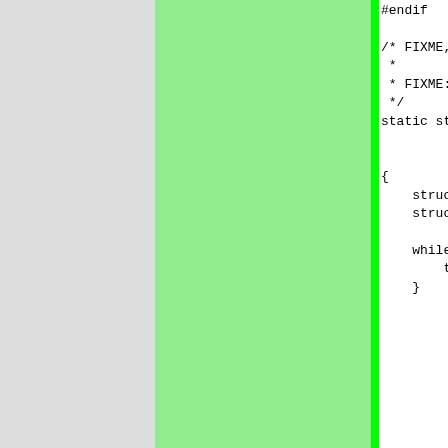| commit | date | author | code |
| --- | --- | --- | --- |
|  |  |  | #endif

/* FIXME,
 *
 * FIXME:
 */
static str


{
    struct p
    struct p

    while(t-
        t = t-
    } |
| 408a1e | 2004-10-30 | Martin Stjernholm | if (inde
    while(
        inde
    }
if (inde
    while(
        inde
    } |
| 663cbf | 2002-05-15 | Henrik Grubbström (Grubba) | switch(t
{
case T_O
{ |